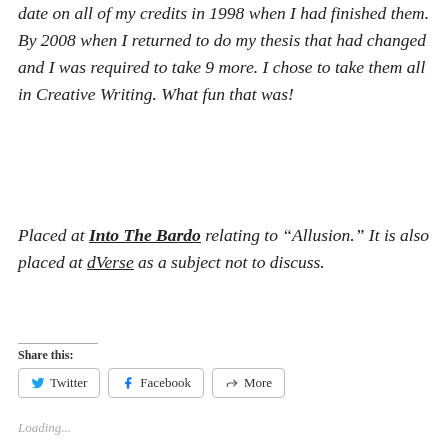date on all of my credits in 1998 when I had finished them. By 2008 when I returned to do my thesis that had changed and I was required to take 9 more. I chose to take them all in Creative Writing. What fun that was!
Placed at Into The Bardo relating to “Allusion.” It is also placed at dVerse as a subject not to discuss.
Share this:
Loading...